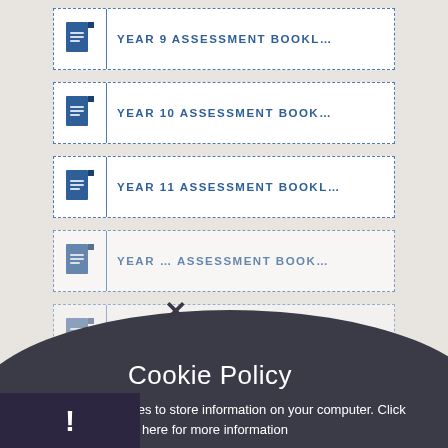YEAR 9 ASSESSMENT BOOKL...
YEAR 10 ASSESSMENT BOOK...
YEAR 11 ASSESSMENT BOOKL...
YEAR [12] ASSESSMENT BOOK...
YEAR [13] ASSESSMENT BOOK...
Cookie Policy
This site uses cookies to store information on your computer. Click here for more information
Allow Cookies   Deny Cookies